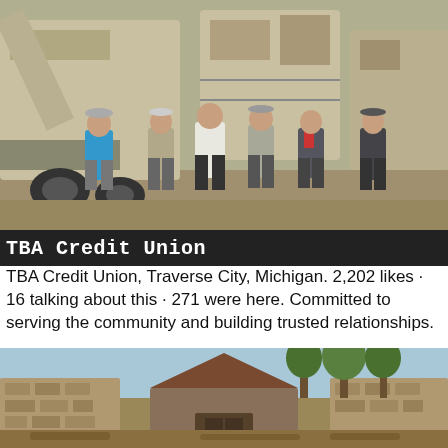[Figure (photo): Group of five men standing in front of large industrial machinery (crusher/quarry equipment) outdoors. A live chat bubble is visible in the bottom right corner.]
TBA Credit Union
TBA Credit Union, Traverse City, Michigan. 2,202 likes · 16 talking about this · 271 were here. Committed to serving the community and building trusted relationships.
[Figure (photo): Outdoor scene showing a rustic stone and timber structure surrounded by trees and earthy terrain.]